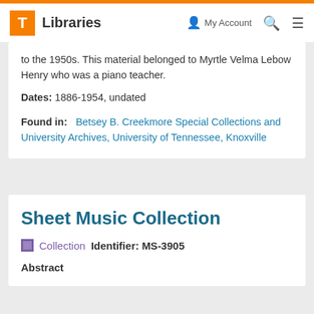T Libraries | My Account | Search | Menu
to the 1950s. This material belonged to Myrtle Velma Lebow Henry who was a piano teacher.
Dates: 1886-1954, undated
Found in: Betsey B. Creekmore Special Collections and University Archives, University of Tennessee, Knoxville
Sheet Music Collection
Collection   Identifier: MS-3905
Abstract